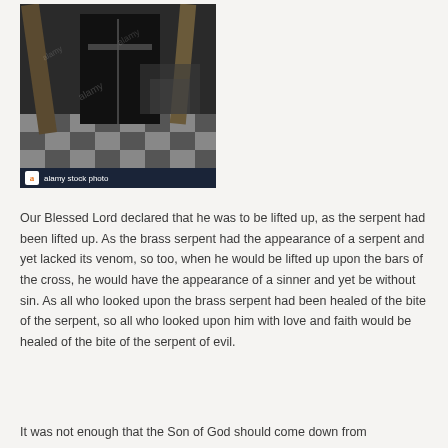[Figure (photo): Black and white photograph showing a person in dark clothing standing near furniture, with a checkered floor visible. Alamy stock photo watermark and banner at bottom.]
Our Blessed Lord declared that he was to be lifted up, as the serpent had been lifted up. As the brass serpent had the appearance of a serpent and yet lacked its venom, so too, when he would be lifted up upon the bars of the cross, he would have the appearance of a sinner and yet be without sin. As all who looked upon the brass serpent had been healed of the bite of the serpent, so all who looked upon him with love and faith would be healed of the bite of the serpent of evil.
It was not enough that the Son of God should come down from